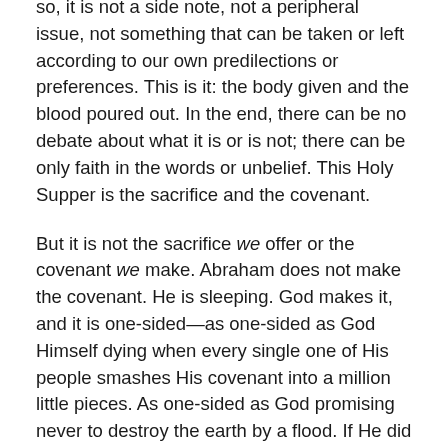so, it is not a side note, not a peripheral issue, not something that can be taken or left according to our own predilections or preferences. This is it: the body given and the blood poured out. In the end, there can be no debate about what it is or is not; there can be only faith in the words or unbelief. This Holy Supper is the sacrifice and the covenant.
But it is not the sacrifice we offer or the covenant we make. Abraham does not make the covenant. He is sleeping. God makes it, and it is one-sided—as one-sided as God Himself dying when every single one of His people smashes His covenant into a million little pieces. As one-sided as God promising never to destroy the earth by a flood. If He did not promise it, who could stop Him? But He does promise, and He gives His own sign: a rainbow. And the sign is not primarily for us, though we may see it. It is